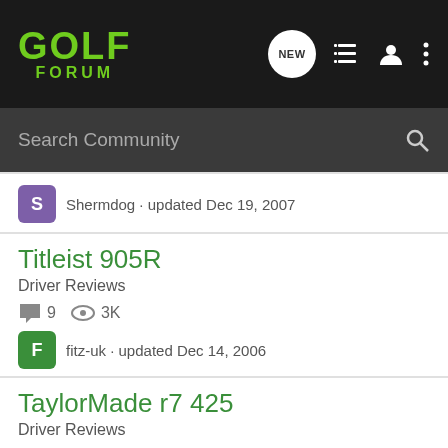GOLF FORUM
Search Community
Shermdog · updated Dec 19, 2007
Titleist 905R
Driver Reviews
9  3K
fitz-uk · updated Dec 14, 2006
TaylorMade r7 425
Driver Reviews
6  3K
Bryan · updated Apr 21, 2006